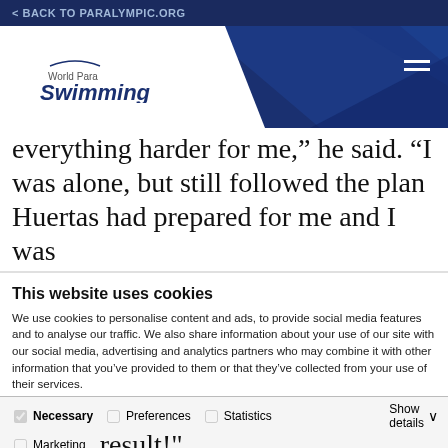< BACK TO PARALYMPIC.ORG
[Figure (logo): World Para Swimming logo — white chevron shape on dark blue header background with hamburger menu icon on right]
everything harder for me,” he said. “I was alone, but still followed the plan Huertas had prepared for me and I was
This website uses cookies
We use cookies to personalise content and ads, to provide social media features and to analyse our traffic. We also share information about your use of our site with our social media, advertising and analytics partners who may combine it with other information that you’ve provided to them or that they’ve collected from your use of their services.
Allow all cookies
Allow selection
Use necessary cookies on
Necessary  Preferences  Statistics  Marketing  Show details
result!"